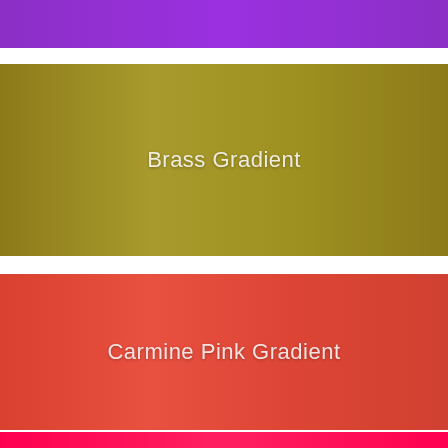[Figure (illustration): Purple/violet horizontal color gradient bar at the top of the page]
[Figure (illustration): Brass (olive-yellow) horizontal color gradient bar with centered white text label 'Brass Gradient']
[Figure (illustration): Carmine Pink horizontal color gradient bar with centered white text label 'Carmine Pink Gradient']
[Figure (illustration): Bright red/rose horizontal color gradient bar at the bottom of the page, partially cropped]